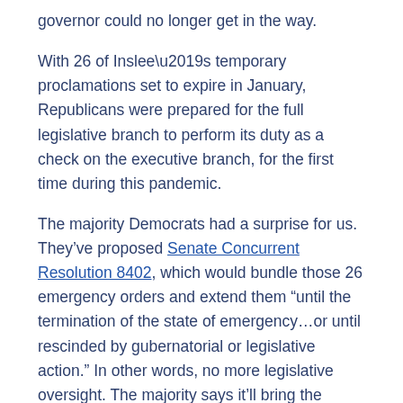governor could no longer get in the way.
With 26 of Inslee’s temporary proclamations set to expire in January, Republicans were prepared for the full legislative branch to perform its duty as a check on the executive branch, for the first time during this pandemic.
The majority Democrats had a surprise for us. They’ve proposed Senate Concurrent Resolution 8402, which would bundle those 26 emergency orders and extend them “until the termination of the state of emergency…or until rescinded by gubernatorial or legislative action.” In other words, no more legislative oversight. The majority says it’ll bring the legislation to a vote sometime today.